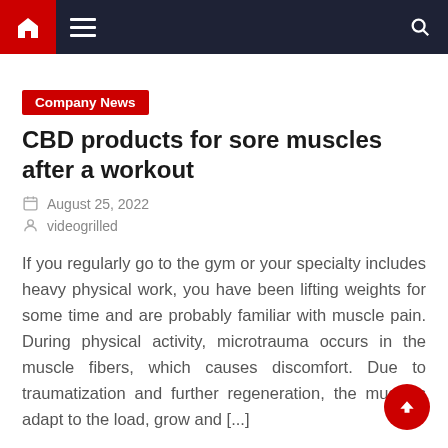Navigation bar with home, menu, and search icons
Company News
CBD products for sore muscles after a workout
August 25, 2022
videogrilled
If you regularly go to the gym or your specialty includes heavy physical work, you have been lifting weights for some time and are probably familiar with muscle pain. During physical activity, microtrauma occurs in the muscle fibers, which causes discomfort. Due to traumatization and further regeneration, the muscles adapt to the load, grow and [...]